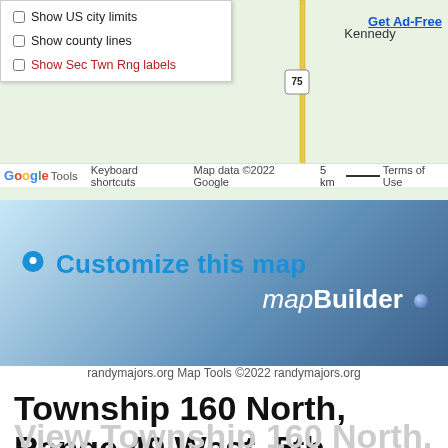[Figure (map): Screenshot of Google Maps showing Kennedy area in Minnesota with highway 75, dropdown menu overlay showing map options]
[Figure (screenshot): mapBuilder banner with 'Customize this map' text and map pin icon on gradient blue background]
randymajors.org Map Tools ©2022 randymajors.org
Township 160 North, Range 49 West, 5th Principal Meridian, Minnesota
View Township 160 North, Range 49 West, 5th Principal